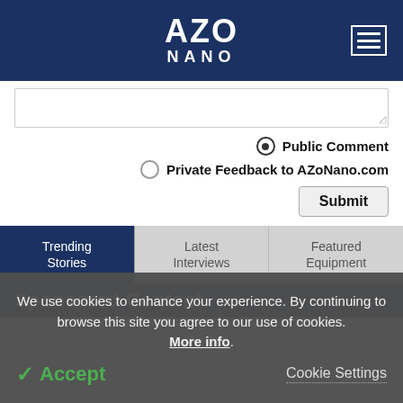AZO NANO
Public Comment
Private Feedback to AZoNano.com
Submit
Trending Stories
Latest Interviews
Featured Equipment
Sponsored Content
We use cookies to enhance your experience. By continuing to browse this site you agree to our use of cookies. More info.
Accept
Cookie Settings